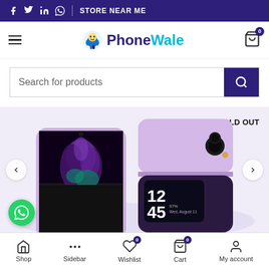Social icons | STORE NEAR ME
[Figure (logo): PhoneWale logo with mascot character, hamburger menu icon, and cart icon with badge 0]
Search for products
[Figure (photo): Samsung Galaxy Z Flip 3 in Lavender color, shown open (front view) and closed (back view). SOLD OUT label in top right.]
Shop | Sidebar | Wishlist | Cart | My account